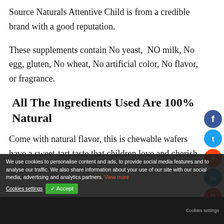Source Naturals Attentive Child is from a credible brand with a good reputation.
These supplements contain No yeast,  NO milk, No egg, gluten, No wheat, No artificial color, No flavor, or fragrance.
All The Ingredients Used Are 100%  Natural
Come with natural flavor, this is chewable wafers have a sweet-tart taste that children love and cherish.
Even the sw... th... m is from
We use cookies to personalise content and ads, to provide social media features and to analyse our traffic. We also share information about your use of our site with our social media, advertising and analytics partners. View more
Cookies settings